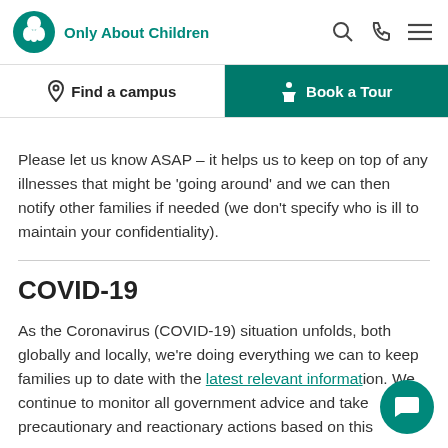Only About Children
Please let us know ASAP – it helps us to keep on top of any illnesses that might be 'going around' and we can then notify other families if needed (we don't specify who is ill to maintain your confidentiality).
COVID-19
As the Coronavirus (COVID-19) situation unfolds, both globally and locally, we're doing everything we can to keep families up to date with the latest relevant information. We continue to monitor all government advice and take precautionary and reactionary actions based on this